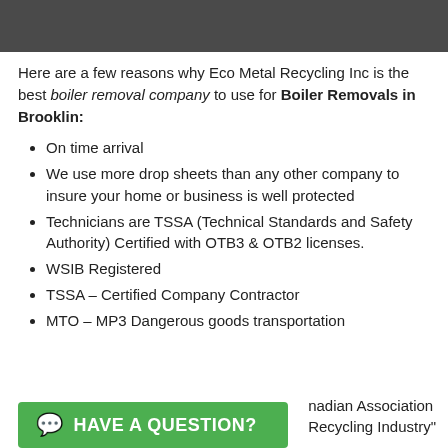[Figure (photo): Dark gray/charcoal colored image strip at top of page]
Here are a few reasons why Eco Metal Recycling Inc is the best boiler removal company to use for Boiler Removals in Brooklin:
On time arrival
We use more drop sheets than any other company to insure your home or business is well protected
Technicians are TSSA (Technical Standards and Safety Authority) Certified with OTB3 & OTB2 licenses.
WSIB Registered
TSSA – Certified Company Contractor
MTO – MP3 Dangerous goods transportation
[Figure (other): Green button with chat icon and text HAVE A QUESTION?]
nadian Association Recycling Industry"